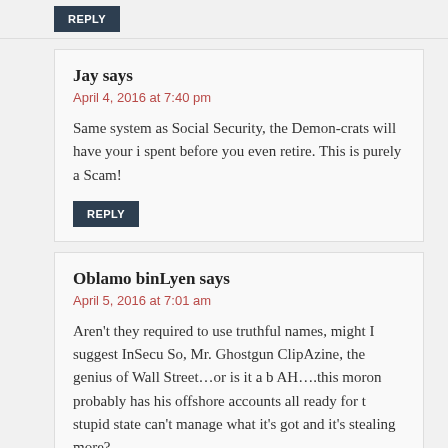REPLY
Jay says
April 4, 2016 at 7:40 pm
Same system as Social Security, the Demon-crats will have your i spent before you even retire. This is purely a Scam!
REPLY
Oblamo binLyen says
April 5, 2016 at 7:01 am
Aren't they required to use truthful names, might I suggest InSecu So, Mr. Ghostgun ClipAzine, the genius of Wall Street…or is it a b AH….this moron probably has his offshore accounts all ready for t stupid state can't manage what it's got and it's stealing more?
REPLY
Speak Your Mind